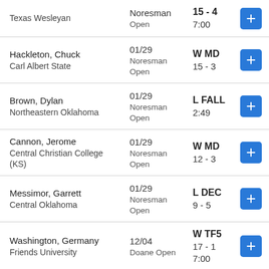Texas Wesleyan | Noresman Open | 15-4 | 7:00
Hackleton, Chuck | Carl Albert State | 01/29 | Noresman Open | W MD | 15 - 3
Brown, Dylan | Northeastern Oklahoma | 01/29 | Noresman Open | L FALL | 2:49
Cannon, Jerome | Central Christian College (KS) | 01/29 | Noresman Open | W MD | 12 - 3
Messimor, Garrett | Central Oklahoma | 01/29 | Noresman Open | L DEC | 9 - 5
Washington, Germany | Friends University | 12/04 | Doane Open | W TF5 | 17 - 1 | 7:00